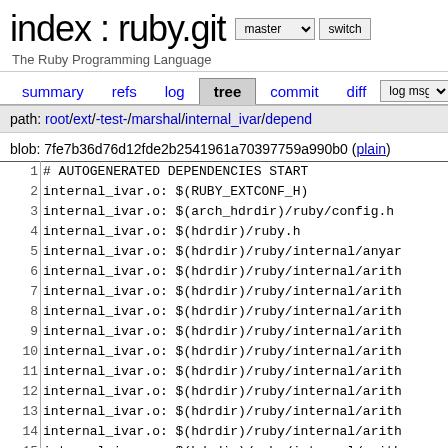index : ruby.git
The Ruby Programming Language
summary  refs  log  tree  commit  diff  log msg
path: root/ext/-test-/marshal/internal_ivar/depend
blob: 7fe7b36d76d12fde2b2541961a70397759a990b0 (plain)
| line | code |
| --- | --- |
| 1 | # AUTOGENERATED DEPENDENCIES START |
| 2 | internal_ivar.o: $(RUBY_EXTCONF_H) |
| 3 | internal_ivar.o: $(arch_hdrdir)/ruby/config.h |
| 4 | internal_ivar.o: $(hdrdir)/ruby.h |
| 5 | internal_ivar.o: $(hdrdir)/ruby/internal/anyar... |
| 6 | internal_ivar.o: $(hdrdir)/ruby/internal/arith... |
| 7 | internal_ivar.o: $(hdrdir)/ruby/internal/arith... |
| 8 | internal_ivar.o: $(hdrdir)/ruby/internal/arith... |
| 9 | internal_ivar.o: $(hdrdir)/ruby/internal/arith... |
| 10 | internal_ivar.o: $(hdrdir)/ruby/internal/arith... |
| 11 | internal_ivar.o: $(hdrdir)/ruby/internal/arith... |
| 12 | internal_ivar.o: $(hdrdir)/ruby/internal/arith... |
| 13 | internal_ivar.o: $(hdrdir)/ruby/internal/arith... |
| 14 | internal_ivar.o: $(hdrdir)/ruby/internal/arith... |
| 15 | internal_ivar.o: $(hdrdir)/ruby/internal/arith... |
| 16 | internal_ivar.o: $(hdrdir)/ruby/internal/arith... |
| 17 | internal_ivar.o: $(hdrdir)/ruby/internal/arith... |